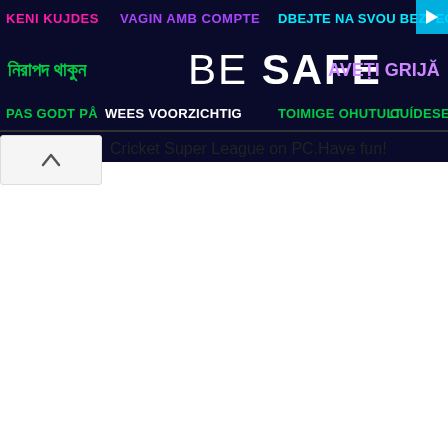[Figure (infographic): Dark navy background banner with multilingual 'BE SAFE' safety message. Row 1: 'KENI KUJDES' in magenta, 'VAGIN AMB COMPTE' in purple, 'DBEJTE NA SVOU BEZPEČNOS' in cyan, with a play button triangle icon on far right. Row 2: Bengali text in green on left, 'BE SAFE' in large white text center, 'AVEȚI GRIJĂ' in purple on right. Row 3: 'PAS GODT PÅ' in green, 'WEES VOORZICHTIG' in white, 'TOIMIGE OHUTULT' in green, 'CUÍDESE' in green.]
Cricket Super League on PC.Have fun!